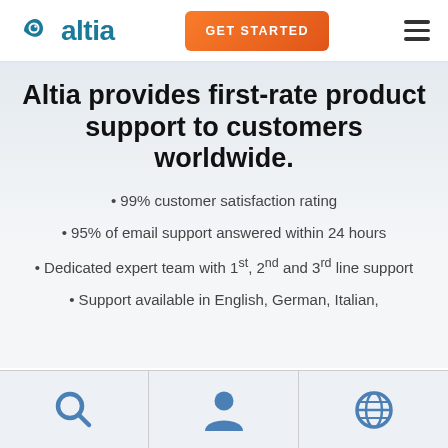[Figure (logo): Altia logo with teal fish/bird eye icon and teal text 'altia']
[Figure (other): Orange 'GET STARTED' button]
[Figure (other): Hamburger menu icon (three horizontal lines)]
Altia provides first-rate product support to customers worldwide.
99% customer satisfaction rating
95% of email support answered within 24 hours
Dedicated expert team with 1st, 2nd and 3rd line support
Support available in English, German, Italian,
[Figure (other): Bottom navigation bar with search icon, user/person icon, and globe/language icon]